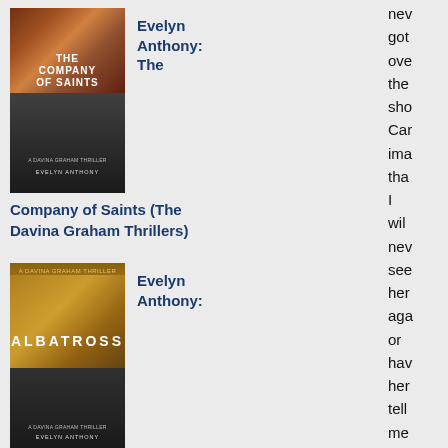[Figure (illustration): Book cover: The Company of Saints by Evelyn Anthony - showing a Venice canal scene in red tones at top and a woman's face at bottom]
Evelyn Anthony: The
Company of Saints (The Davina Graham Thrillers)
[Figure (illustration): Book cover: Albatross by Evelyn Anthony - showing a golden/orange cityscape with a river and dark lower half with woman's face]
Evelyn Anthony:
Albatross (The Davina Graham Thrillers)
[Figure (illustration): Partial view of a third book cover in blue tones at bottom of page]
nev
got
ove
the
sho
Car
ima
tha
I
will
nev
see
her
aga
or
hav
her
tell
me
off
or
bos
me